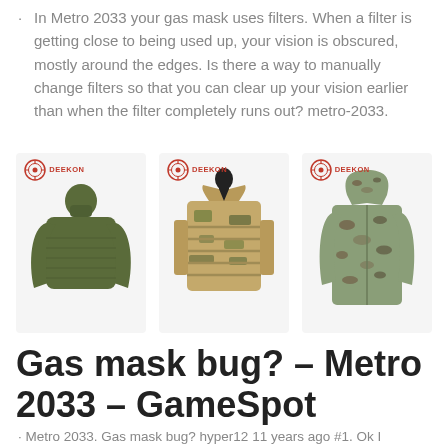· In Metro 2033 your gas mask uses filters. When a filter is getting close to being used up, your vision is obscured, mostly around the edges. Is there a way to manually change filters so that you can clear up your vision earlier than when the filter completely runs out? metro-2033.
[Figure (photo): Three military clothing/gear items displayed side by side, each with a DEEKON logo. Left: olive green ribbed knit sweater. Center: tan/camouflage tactical plate carrier vest on a mannequin. Right: camouflage hooded rain jacket/parka.]
Gas mask bug? – Metro 2033 – GameSpot
· Metro 2033. Gas mask bug? hyper12 11 years ago #1. Ok I